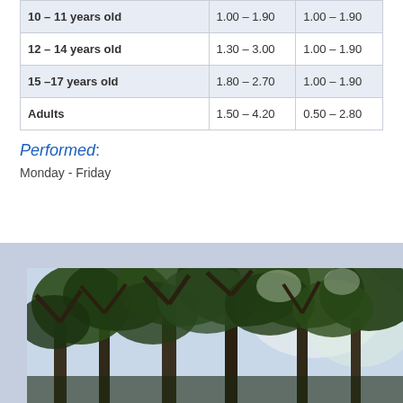| Age Group | Col1 | Col2 |
| --- | --- | --- |
| 10 – 11 years old | 1.00 – 1.90 | 1.00 – 1.90 |
| 12 – 14 years old | 1.30 – 3.00 | 1.00 – 1.90 |
| 15 –17 years old | 1.80 – 2.70 | 1.00 – 1.90 |
| Adults | 1.50 – 4.20 | 0.50 – 2.80 |
Performed:
Monday - Friday
[Figure (photo): Outdoor photo looking up through large leafy trees against a bright sky]